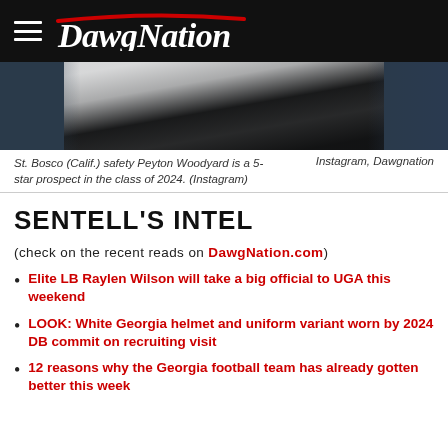DawgNation
[Figure (photo): Photo of a football player in a white uniform with Nike swoosh, cropped to show torso and legs, dark background with arena lighting]
St. Bosco (Calif.) safety Peyton Woodyard is a 5-star prospect in the class of 2024. (Instagram)  Instagram, Dawgnation
SENTELL'S INTEL
(check on the recent reads on DawgNation.com)
Elite LB Raylen Wilson will take a big official to UGA this weekend
LOOK: White Georgia helmet and uniform variant worn by 2024 DB commit on recruiting visit
12 reasons why the Georgia football team has already gotten better this week